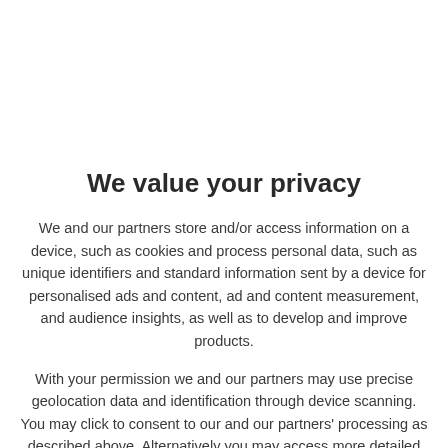We value your privacy
We and our partners store and/or access information on a device, such as cookies and process personal data, such as unique identifiers and standard information sent by a device for personalised ads and content, ad and content measurement, and audience insights, as well as to develop and improve products.
With your permission we and our partners may use precise geolocation data and identification through device scanning. You may click to consent to our and our partners' processing as described above. Alternatively you may access more detailed information and change your preferences before